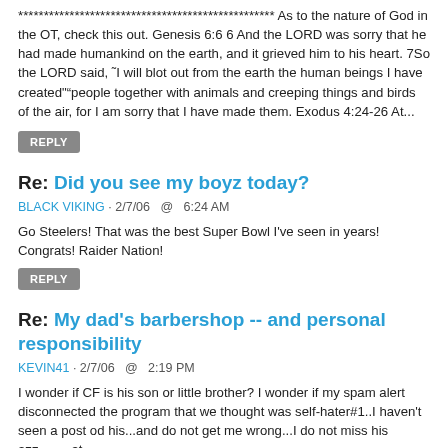************************************************** As to the nature of God in the OT, check this out. Genesis 6:6 6 And the LORD was sorry that he had made humankind on the earth, and it grieved him to his heart. 7So the LORD said, ˜I will blot out from the earth the human beings I have created"“people together with animals and creeping things and birds of the air, for I am sorry that I have made them. Exodus 4:24-26 At...
REPLY
Re: Did you see my boyz today?
BLACK VIKING · 2/7/06  @  6:24 AM
Go Steelers! That was the best Super Bowl I've seen in years! Congrats! Raider Nation!
REPLY
Re: My dad's barbershop -- and personal responsibility
KEVIN41 · 2/7/06  @  2:19 PM
I wonder if CF is his son or little brother? I wonder if my spam alert disconnected the program that we thought was self-hater#1..I haven't seen a post od his...and do not get me wrong...I do not miss his azz.........at